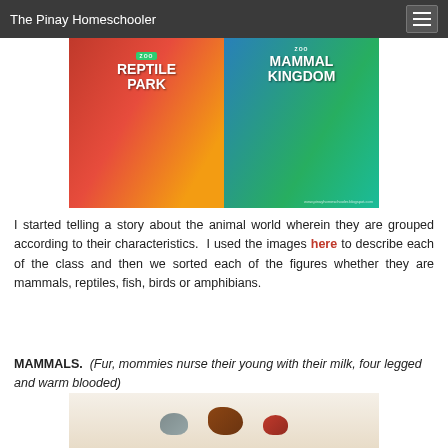The Pinay Homeschooler
[Figure (photo): Two children's zoo books side by side: 'Zoo Reptile Park' with a red/yellow cover featuring reptiles, and 'Zoo Mammal Kingdom' with a blue/green cover featuring a tiger and giraffe.]
I started telling a story about the animal world wherein they are grouped according to their characteristics.  I used the images here to describe each of the class and then we sorted each of the figures whether they are mammals, reptiles, fish, birds or amphibians.
MAMMALS.  (Fur, mommies nurse their young with their milk, four legged and warm blooded)
[Figure (photo): Animal figurines on a beige surface, showing what appear to be toy animals representing mammals.]